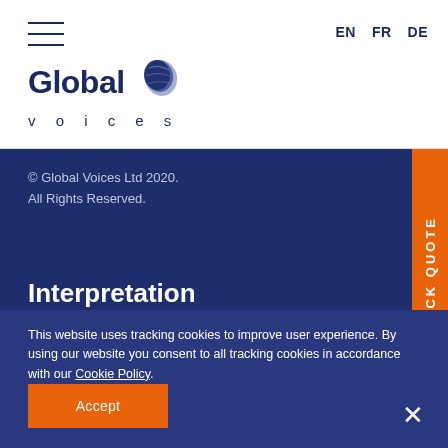[Figure (logo): Global Voices logo with globe icon and 'Global voices' text]
EN  FR  DE
© Global Voices Ltd 2020.
All Rights Reserved.
Interpretation
QUICK QUOTE
This website uses tracking cookies to improve user experience. By using our website you consent to all tracking cookies in accordance with our Cookie Policy.
Accept